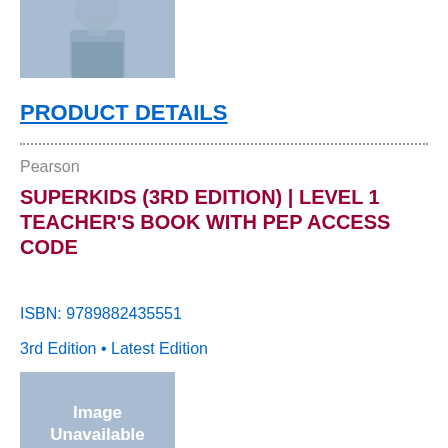[Figure (photo): Partial photo of a person at the top of the page, cropped — only showing shoulders and head area with blue-grey background]
PRODUCT DETAILS
Pearson
SUPERKIDS (3RD EDITION) | LEVEL 1 TEACHER'S BOOK WITH PEP ACCESS CODE
ISBN: 9789882435551
3rd Edition • Latest Edition
[Figure (photo): Book cover placeholder image showing 'Image Unavailable' text with a silhouette of a person balancing books on their head, blue-grey background]